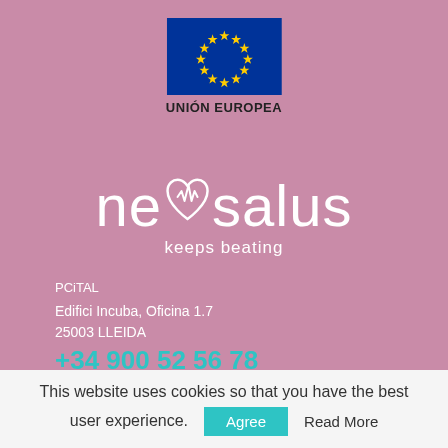[Figure (logo): European Union flag — blue background with circle of 12 yellow stars]
UNIÓN EUROPEA
[Figure (logo): Neosalus logo with heart icon and tagline 'keeps beating']
PCiTAL
Edifici Incuba, Oficina 1.7
25003  LLEIDA
+34 900 52 56 78
This website uses cookies so that you have the best user experience.
Agree
Read More